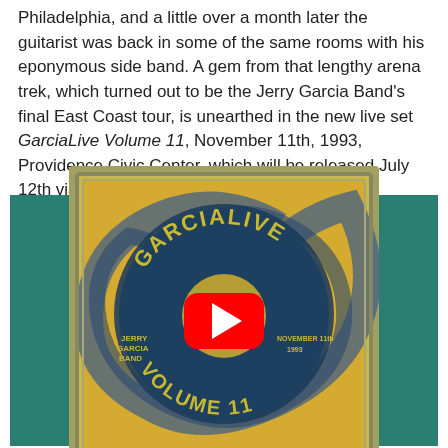Philadelphia, and a little over a month later the guitarist was back in some of the same rooms with his eponymous side band. A gem from that lengthy arena trek, which turned out to be the Jerry Garcia Band's final East Coast tour, is unearthed in the new live set GarciaLive Volume 11, November 11th, 1993, Providence Civic Center, which will be released July 12th via Round Records.
[Figure (other): YouTube video embed showing the album art for GarciaLive Volume 11 by Jerry Garcia Band (November 11th, 1993) with a YouTube play button overlay, displayed on a teal background.]